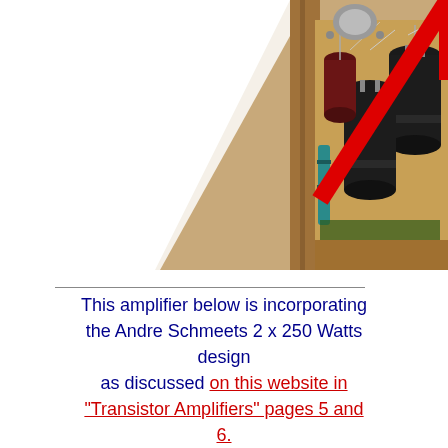[Figure (photo): Photograph of the interior of an audio amplifier build, showing large black cylindrical capacitors, a teal/blue resistor or capacitor, a dark red capacitor, wiring, and wooden chassis. A red diagonal arrow or line is overlaid on the image pointing to a component area.]
This amplifier below is incorporating the Andre Schmeets 2 x 250 Watts design as discussed on this website in "Transistor Amplifiers" pages 5 and 6.